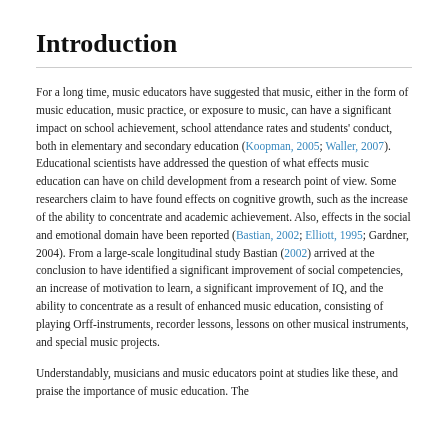Introduction
For a long time, music educators have suggested that music, either in the form of music education, music practice, or exposure to music, can have a significant impact on school achievement, school attendance rates and students' conduct, both in elementary and secondary education (Koopman, 2005; Waller, 2007). Educational scientists have addressed the question of what effects music education can have on child development from a research point of view. Some researchers claim to have found effects on cognitive growth, such as the increase of the ability to concentrate and academic achievement. Also, effects in the social and emotional domain have been reported (Bastian, 2002; Elliott, 1995; Gardner, 2004). From a large-scale longitudinal study Bastian (2002) arrived at the conclusion to have identified a significant improvement of social competencies, an increase of motivation to learn, a significant improvement of IQ, and the ability to concentrate as a result of enhanced music education, consisting of playing Orff-instruments, recorder lessons, lessons on other musical instruments, and special music projects.
Understandably, musicians and music educators point at studies like these, and praise the importance of music education. The...